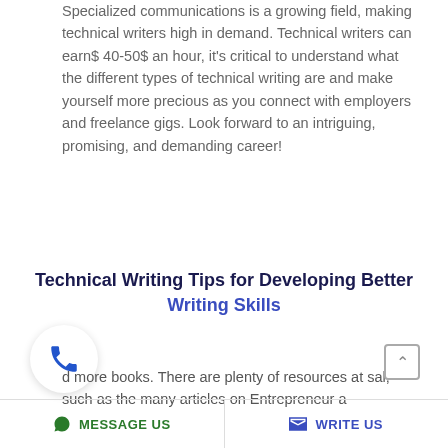Specialized communications is a growing field, making technical writers high in demand. Technical writers can earn$ 40-50$ an hour, it's critical to understand what the different types of technical writing are and make yourself more precious as you connect with employers and freelance gigs. Look forward to an intriguing, promising, and demanding career!
Technical Writing Tips for Developing Better Writing Skills
d more books. There are plenty of resources at sal, such as the many articles on Entrepreneur a
MESSAGE US   WRITE US